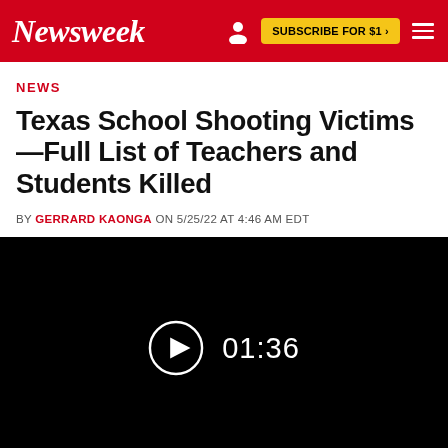Newsweek | SUBSCRIBE FOR $1 >
NEWS
Texas School Shooting Victims—Full List of Teachers and Students Killed
BY GERRARD KAONGA ON 5/25/22 AT 4:46 AM EDT
[Figure (screenshot): Black video player thumbnail showing a play button icon and duration 01:36]